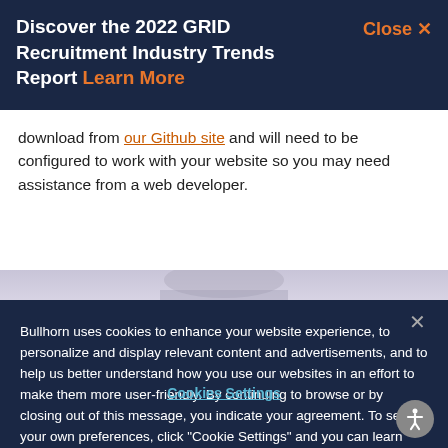Discover the 2022 GRID Recruitment Industry Trends Report Learn More  Close ×
download from our Github site and will need to be configured to work with your website so you may need assistance from a web developer.
[Figure (photo): Partial image of a person, mostly obscured by overlaid cookie consent banner]
Bullhorn uses cookies to enhance your website experience, to personalize and display relevant content and advertisements, and to help us better understand how you use our websites in an effort to make them more user-friendly. By continuing to browse or by closing out of this message, you indicate your agreement. To set your own preferences, click "Cookie Settings" and you can learn more about the cookies we use by reviewing our cookie policy.
Cookies Settings